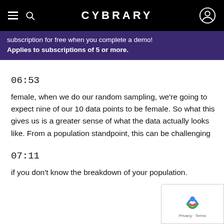CYBRARY
subscription for free when you complete a demo! Applies to subscriptions of 5 or more.
06:53
female, when we do our random sampling, we're going to expect nine of our 10 data points to be female. So what this gives us is a greater sense of what the data actually looks like. From a population standpoint, this can be challenging
07:11
if you don't know the breakdown of your population.